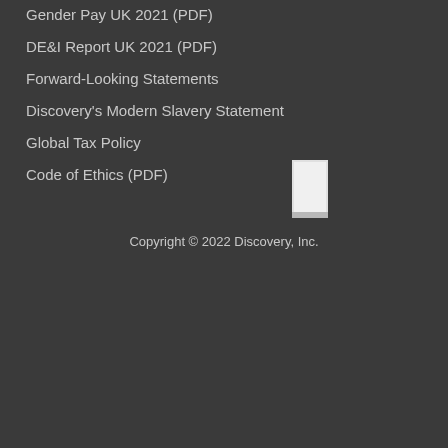Gender Pay UK 2021 (PDF)
DE&I Report UK 2021 (PDF)
Forward-Looking Statements
Discovery's Modern Slavery Statement
Global Tax Policy
Code of Ethics (PDF)
[Figure (logo): Discovery Inc. logo - small rectangular book/document icon in light grey on dark background]
Copyright © 2022 Discovery, Inc.